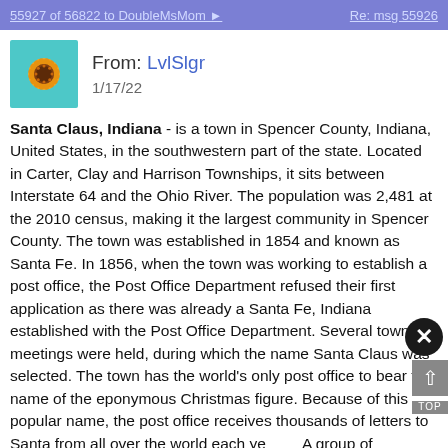55927 of 56822 to DoubleMsMom    Re: msg 55926
From: LvlSlgr
1/17/22
Santa Claus, Indiana - is a town in Spencer County, Indiana, United States, in the southwestern part of the state. Located in Carter, Clay and Harrison Townships, it sits between Interstate 64 and the Ohio River. The population was 2,481 at the 2010 census, making it the largest community in Spencer County. The town was established in 1854 and known as Santa Fe. In 1856, when the town was working to establish a post office, the Post Office Department refused their first application as there was already a Santa Fe, Indiana established with the Post Office Department. Several town meetings were held, during which the name Santa Claus was selected. The town has the world's only post office to bear the name of the eponymous Christmas figure. Because of this popular name, the post office receives thousands of letters to Santa from all over the world each year. A group of volunteers known as Santa's Elves ensures each child receives a reply from Santa Claus; this tradition has been in existence since at least 1914. Every year, the post office also creates a special Christmas hand-cancellation pictorial postmark